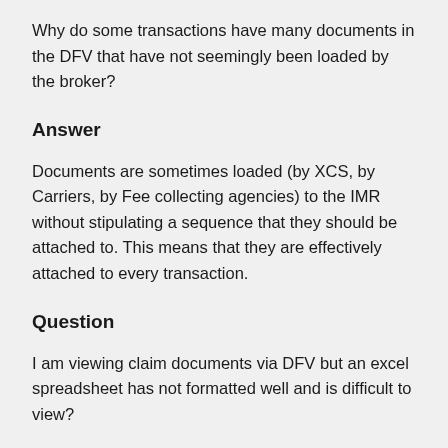Why do some transactions have many documents in the DFV that have not seemingly been loaded by the broker?
Answer
Documents are sometimes loaded (by XCS, by Carriers, by Fee collecting agencies) to the IMR without stipulating a sequence that they should be attached to. This means that they are effectively attached to every transaction.
Question
I am viewing claim documents via DFV but an excel spreadsheet has not formatted well and is difficult to view?
Answer